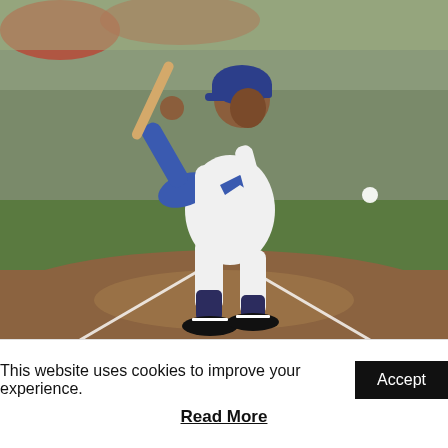[Figure (photo): A baseball player in a blue and white uniform swinging a bat at home plate during a game. The player is mid-swing, following through. Background shows a baseball diamond with dirt infield and green outfield grass.]
This website uses cookies to improve your experience.
Accept
Read More